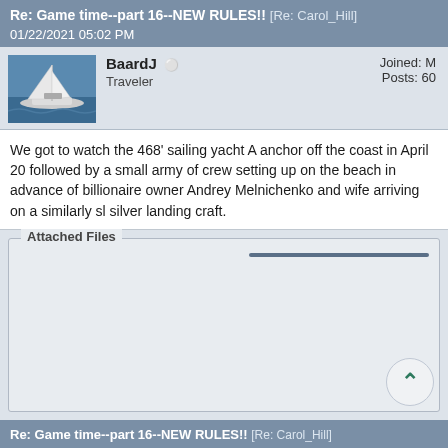Re: Game time--part 16--NEW RULES!! [Re: Carol_Hill]
01/22/2021 05:02 PM
BaardJ  Traveler  Joined: M  Posts: 60
We got to watch the 468' sailing yacht A anchor off the coast in April 20 followed by a small army of crew setting up on the beach in advance of billionaire owner Andrey Melnichenko and wife arriving on a similarly sl silver landing craft.
Attached Files
Re: Game time--part 16--NEW RULES!! [Re: Carol_Hill]